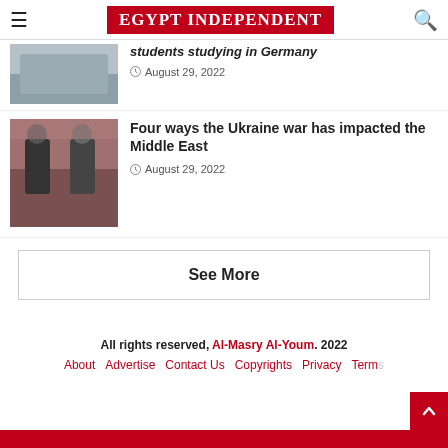EGYPT INDEPENDENT
students studying in Germany
August 29, 2022
Four ways the Ukraine war has impacted the Middle East
August 29, 2022
See More
All rights reserved, Al-Masry Al-Youm. 2022
About  Advertise  Contact Us  Copyrights  Privacy  Terms